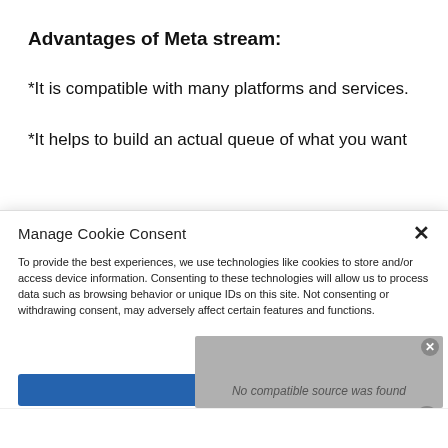Advantages of Meta stream:
*It is compatible with many platforms and services.
*It helps to build an actual queue of what you want
Manage Cookie Consent
To provide the best experiences, we use technologies like cookies to store and/or access device information. Consenting to these technologies will allow us to process data such as browsing behavior or unique IDs on this site. Not consenting or withdrawing consent, may adversely affect certain features and functions.
[Figure (screenshot): Video player showing 'No compatible source was found' message with close button]
No compatible source was found